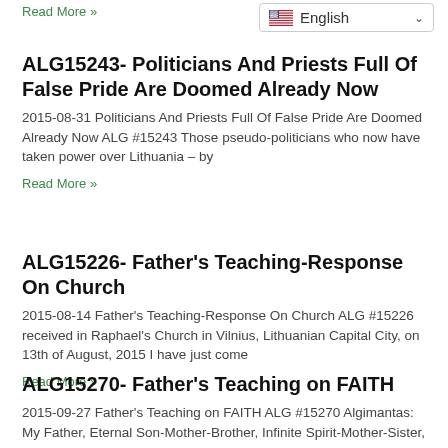Read More »
English
ALG15243- Politicians And Priests Full Of False Pride Are Doomed Already Now
2015-08-31  Politicians And Priests Full Of False Pride Are Doomed Already Now ALG #15243 Those pseudo-politicians who now have taken power over Lithuania – by
Read More »
ALG15226- Father's Teaching-Response On Church
2015-08-14 Father's Teaching-Response On Church ALG #15226 received in Raphael's Church in Vilnius, Lithuanian Capital City, on 13th of August, 2015 I have just come
Read More »
ALG15270- Father's Teaching on FAITH
2015-09-27  Father's Teaching on FAITH ALG #15270 Algimantas: My Father, Eternal Son-Mother-Brother, Infinite Spirit-Mother-Sister, I AM to worship and to be if you want to be really …